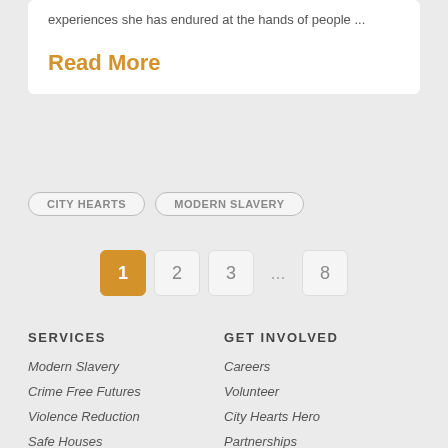experiences she has endured at the hands of people ...
Read More
CITY HEARTS
MODERN SLAVERY
1
2
3
...
8
SERVICES
Modern Slavery
Crime Free Futures
Violence Reduction
Safe Houses
Bright Future
GET INVOLVED
Careers
Volunteer
City Hearts Hero
Partnerships
International
Media Pack